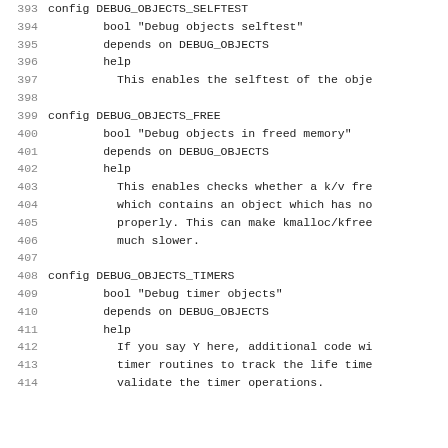393	config DEBUG_OBJECTS_SELFTEST
394		bool "Debug objects selftest"
395		depends on DEBUG_OBJECTS
396		help
397			This enables the selftest of the obje
398	
399	config DEBUG_OBJECTS_FREE
400		bool "Debug objects in freed memory"
401		depends on DEBUG_OBJECTS
402		help
403			This enables checks whether a k/v fre
404			which contains an object which has no
405			properly. This can make kmalloc/kfree
406			much slower.
407	
408	config DEBUG_OBJECTS_TIMERS
409		bool "Debug timer objects"
410		depends on DEBUG_OBJECTS
411		help
412			If you say Y here, additional code wi
413			timer routines to track the life time
414			validate the timer operations.